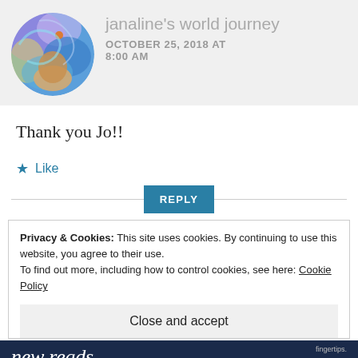janaline's world journey
OCTOBER 25, 2018 AT 8:00 AM
Thank you Jo!!
★ Like
REPLY
Privacy & Cookies: This site uses cookies. By continuing to use this website, you agree to their use.
To find out more, including how to control cookies, see here: Cookie Policy
Close and accept
[Figure (screenshot): Banner strip showing 'new reads' text in italic white font on dark navy background, with small text on right side]